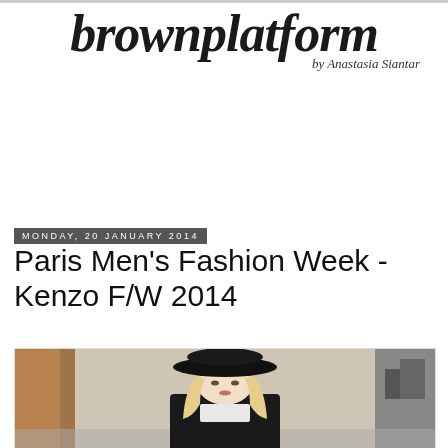brownplatform by Anastasia Siantar
Monday, 20 January 2014
Paris Men's Fashion Week - Kenzo F/W 2014
[Figure (photo): Blonde woman wearing a wide-brim black hat and dark outfit, photographed outdoors on a city street]